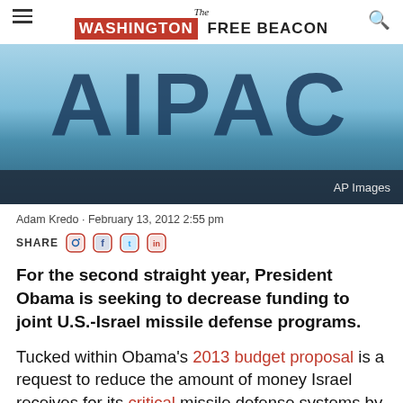The Washington Free Beacon
[Figure (photo): AIPAC banner image with large blue letters spelling AIPAC on a sky-blue background, with a dark footer bar showing 'AP Images']
AP Images
Adam Kredo · February 13, 2012 2:55 pm
SHARE [social icons]
For the second straight year, President Obama is seeking to decrease funding to joint U.S.-Israel missile defense programs.
Tucked within Obama's 2013 budget proposal is a request to reduce the amount of money Israel receives for its critical missile defense systems by $6.3 million relative to the 2012 budget